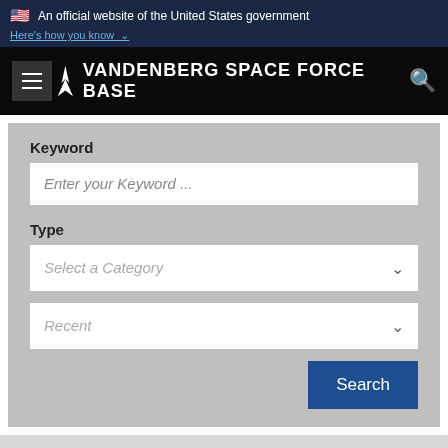An official website of the United States government
Here's how you know
VANDENBERG SPACE FORCE BASE
Keyword
Enter your Keyword ...
Type
Select a Category
Recent
Search
Results: Tag: USAF  Clear
1  2  3  4